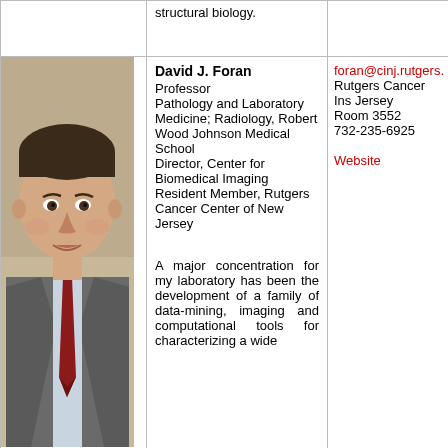structural biology.
[Figure (photo): Professional headshot of David J. Foran, a man in a suit with a red tie]
David J. Foran
Professor
Pathology and Laboratory Medicine; Radiology, Robert Wood Johnson Medical School
Director, Center for Biomedical Imaging
Resident Member, Rutgers Cancer Center of New Jersey
foran@cinj.rutgers.
Rutgers Cancer Ins Jersey
Room 3552
732-235-6925
Website
A major concentration for my laboratory has been the development of a family of data-mining, imaging and computational tools for characterizing a wide